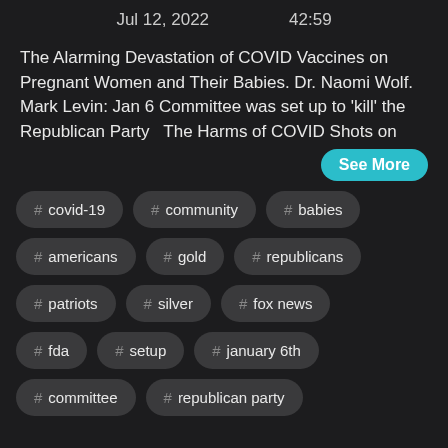Jul 12, 2022    42:59
The Alarming Devastation of COVID Vaccines on Pregnant Women and Their Babies. Dr. Naomi Wolf. Mark Levin: Jan 6 Committee was set up to 'kill' the Republican Party   The Harms of COVID Shots on
See More
# covid-19
# community
# babies
# americans
# gold
# republicans
# patriots
# silver
# fox news
# fda
# setup
# january 6th
# committee
# republican party